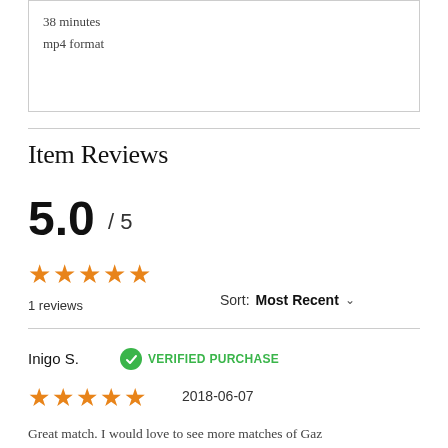38 minutes
mp4 format
Item Reviews
5.0 / 5
★★★★★
1 reviews
Sort: Most Recent
Inigo S.   ✔ VERIFIED PURCHASE
★★★★★   2018-06-07
Great match. I would love to see more matches of Gaz